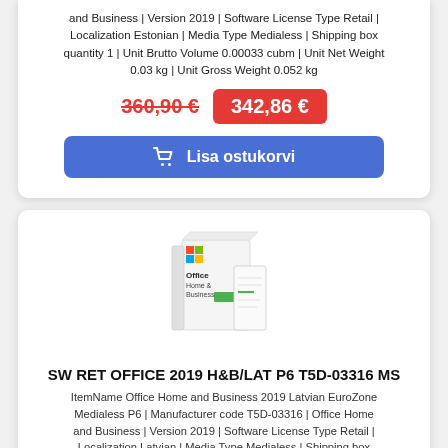and Business | Version 2019 | Software License Type Retail | Localization Estonian | Media Type Medialess | Shipping box quantity 1 | Unit Brutto Volume 0.00033 cubm | Unit Net Weight 0.03 kg | Unit Gross Weight 0.052 kg
360,90 €  342,86 €
Lisa ostukorvi
[Figure (illustration): Microsoft Office Home and Business 2019 product box image]
SW RET OFFICE 2019 H&B/LAT P6 T5D-03316 MS
ItemName Office Home and Business 2019 Latvian EuroZone Medialess P6 | Manufacturer code T5D-03316 | Office Home and Business | Version 2019 | Software License Type Retail | Localization Latvian | Media Type Medialess | Shipping box quantity 1 | Unit Brutto Volume 0.00033 cubm | Unit Net Weight 0.03 kg | Unit Gross Weight 0.052 k